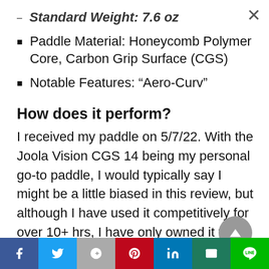Standard Weight: 7.6 oz
Paddle Material: Honeycomb Polymer Core, Carbon Grip Surface (CGS)
Notable Features: “Aero-Curv”
How does it perform?
I received my paddle on 5/7/22. With the Joola Vision CGS 14 being my personal go-to paddle, I would typically say I might be a little biased in this review, but although I have used it competitively for over 10+ hrs, I have only owned it for under a